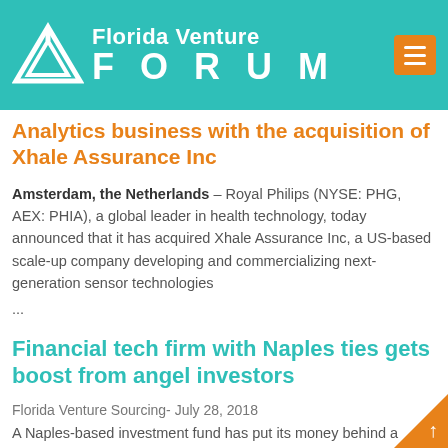[Figure (logo): Florida Venture Forum logo with teal background, white triangular icon, and white text reading 'Florida Venture FORUM' with orange hamburger menu button]
Analytics business with the acquisition of Xhale Assurance Inc
Amsterdam, the Netherlands – Royal Philips (NYSE: PHG, AEX: PHIA), a global leader in health technology, today announced that it has acquired Xhale Assurance Inc, a US-based scale-up company developing and commercializing next-generation sensor technologies ...
Financial tech firm with Naples ties gets boost from angel investors
Florida Venture Sourcing- July 28, 2018
A Naples-based investment fund has put its money behind a financial technology firm with local ties.